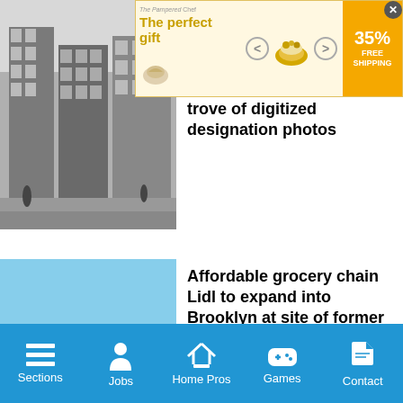[Figure (screenshot): Advertisement banner: 'The perfect gift' with a bowl of food, 35% FREE SHIPPING offer]
[Figure (photo): Black and white photo of old urban brownstone buildings on a street]
trove of digitized designation photos
[Figure (photo): Color photo of Lidl grocery store exterior in Brooklyn]
Affordable grocery chain Lidl to expand into Brooklyn at site of former Park Slope Key Foods
[Figure (photo): Photo of a boom truck collapsed into a church in Sunset Park]
Boom truck collapses into Sunset Park church
Sections   Jobs   Home Pros   Games   Contact